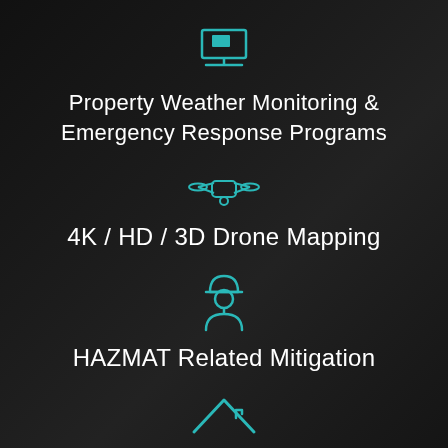[Figure (illustration): Teal laptop/monitor icon]
Property Weather Monitoring & Emergency Response Programs
[Figure (illustration): Teal drone icon]
4K / HD / 3D Drone Mapping
[Figure (illustration): Teal construction worker / HAZMAT worker icon]
HAZMAT Related Mitigation
[Figure (illustration): Teal house/roof outline icon]